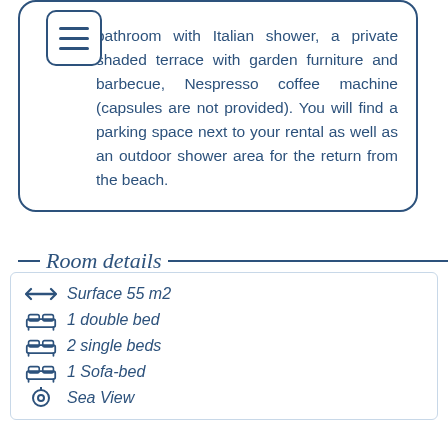bathroom with Italian shower, a private shaded terrace with garden furniture and barbecue, Nespresso coffee machine (capsules are not provided). You will find a parking space next to your rental as well as an outdoor shower area for the return from the beach.
Room details
Surface 55 m2
1 double bed
2 single beds
1 Sofa-bed
Sea View